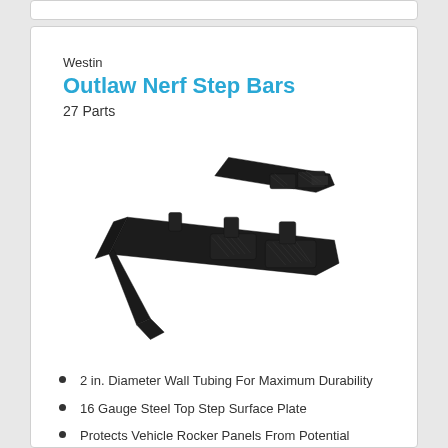Westin
Outlaw Nerf Step Bars
27 Parts
[Figure (photo): Black Outlaw Nerf Step Bars product image showing two angled steel step bars with textured step pads on a white background]
2 in. Diameter Wall Tubing For Maximum Durability
16 Gauge Steel Top Step Surface Plate
Protects Vehicle Rocker Panels From Potential Damage